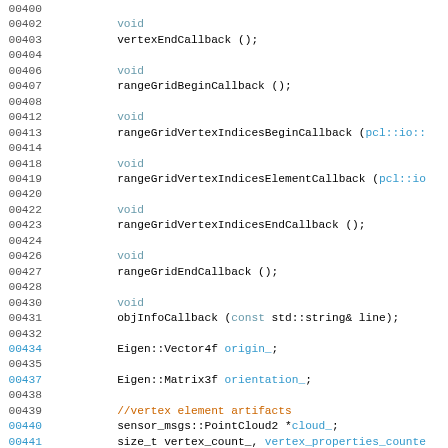Code listing snippet showing C++ class method declarations and member variables including vertexEndCallback, rangeGridBeginCallback, rangeGridVertexIndicesBeginCallback, rangeGridVertexIndicesElementCallback, rangeGridVertexIndicesEndCallback, rangeGridEndCallback, objInfoCallback, Eigen::Vector4f origin_, Eigen::Matrix3f orientation_, and member variable declarations.